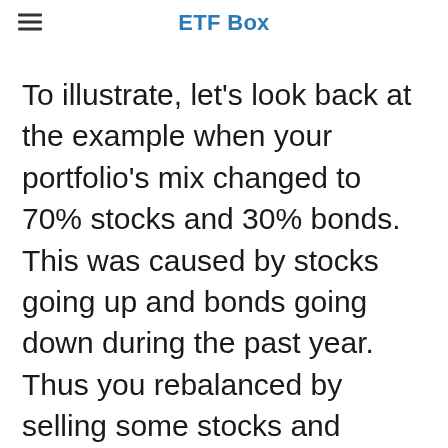ETF Box
To illustrate, let's look back at the example when your portfolio's mix changed to 70% stocks and 30% bonds. This was caused by stocks going up and bonds going down during the past year. Thus you rebalanced by selling some stocks and buying some bonds. Now imagine that another year passed by. This time bonds went up and stocks went down. Thus you would rebalance by selling some bonds and